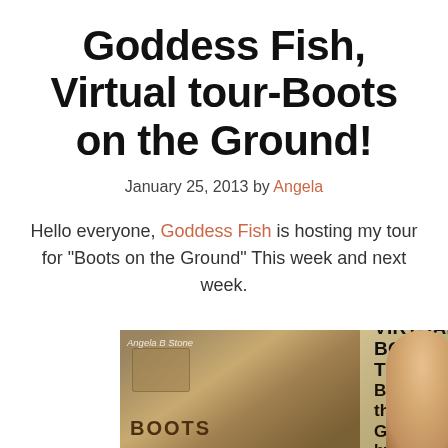Goddess Fish, Virtual tour-Boots on the Ground!
January 25, 2013 by Angela
Hello everyone, Goddess Fish is hosting my tour for “Boots on the Ground” This week and next week.
[Figure (photo): Virtual Book Tour banner image for Boots on the Ground showing a boot on the left half and VIRTUAL BOOK TOUR / Boots on the Ground / by text on the right half with a woman's face at the far right edge]